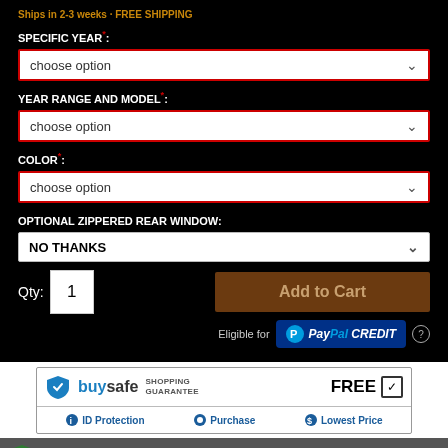Ships in 2-3 weeks · FREE SHIPPING
SPECIFIC YEAR*:
choose option
YEAR RANGE AND MODEL*:
choose option
COLOR*:
choose option
OPTIONAL ZIPPERED REAR WINDOW:
NO THANKS
Qty: 1
Add to Cart
Eligible for PayPal CREDIT
[Figure (logo): BuySafe Shopping Guarantee FREE badge with ID Protection, Purchase, and Lowest Price icons]
SSL Secured · 4.8/5 Rating · Expert Support